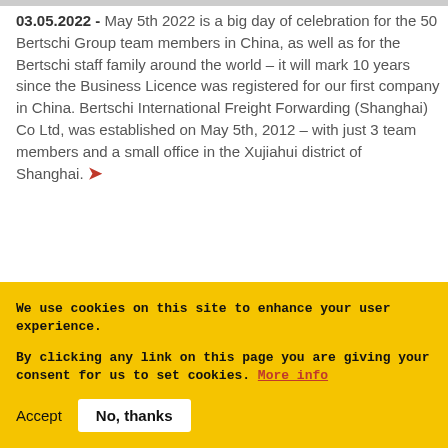03.05.2022 - May 5th 2022 is a big day of celebration for the 50 Bertschi Group team members in China, as well as for the Bertschi staff family around the world – it will mark 10 years since the Business Licence was registered for our first company in China. Bertschi International Freight Forwarding (Shanghai) Co Ltd, was established on May 5th, 2012 – with just 3 team members and a small office in the Xujiahui district of Shanghai. ❯
We use cookies on this site to enhance your user experience.

By clicking any link on this page you are giving your consent for us to set cookies. More info
Accept   No, thanks